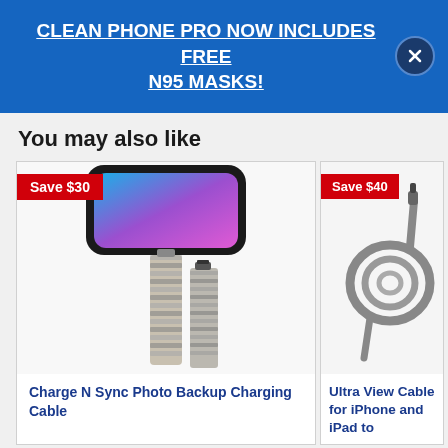CLEAN PHONE PRO NOW INCLUDES FREE N95 MASKS!
You may also like
[Figure (photo): Product photo of a braided charging cable with phone on top, labeled Save $30]
Charge N Sync Photo Backup Charging Cable
[Figure (photo): Product photo of a coiled cable, labeled Save $40]
Ultra View Cable for iPhone and iPad to